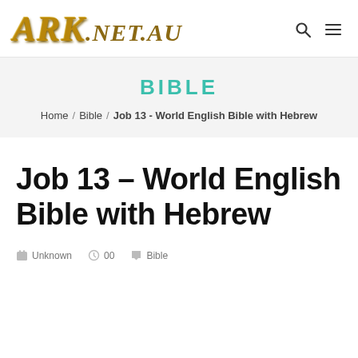ARK.NET.AU
BIBLE
Home / Bible / Job 13 - World English Bible with Hebrew
Job 13 – World English Bible with Hebrew